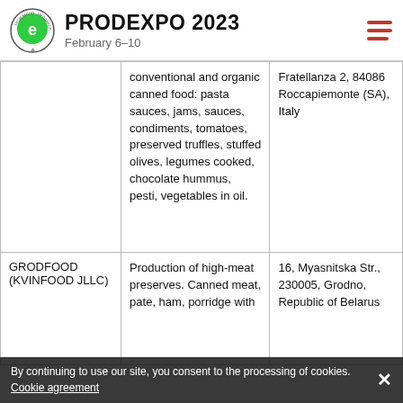PRODEXPO 2023 · February 6–10
| Company | Products | Address |
| --- | --- | --- |
|  | conventional and organic canned food: pasta sauces, jams, sauces, condiments, tomatoes, preserved truffles, stuffed olives, legumes cooked, chocolate hummus, pesti, vegetables in oil. | Fratellanza 2, 84086 Roccapiemonte (SA), Italy |
| GRODFOOD (KVINFOOD JLLC) | Production of high-meat preserves. Canned meat, pate, ham, porridge with | 16, Myasnitska Str., 230005, Grodno, Republic of Belarus |
By continuing to use our site, you consent to the processing of cookies. Cookie agreement